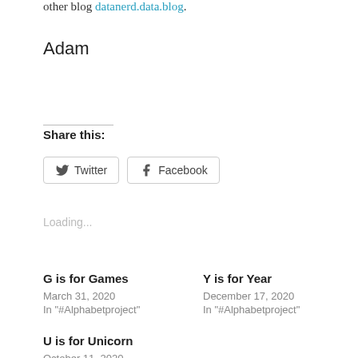other blog datanerd.data.blog.
Adam
Share this:
Twitter  Facebook
Loading...
G is for Games
March 31, 2020
In "#Alphabetproject"
Y is for Year
December 17, 2020
In "#Alphabetproject"
U is for Unicorn
October 11, 2020